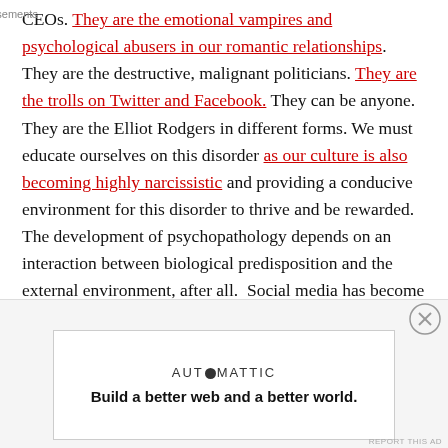CEOs. They are the emotional vampires and psychological abusers in our romantic relationships. They are the destructive, malignant politicians. They are the trolls on Twitter and Facebook. They can be anyone. They are the Elliot Rodgers in different forms. We must educate ourselves on this disorder as our culture is also becoming highly narcissistic and providing a conducive environment for this disorder to thrive and be rewarded. The development of psychopathology depends on an interaction between biological predisposition and the external environment, after all.  Social media has become a popular mechanism to strengthen and solidify narcissistic urges, for us to “like” and post self-absorbed statuses, pictures, and videos. Although we are not all
Advertisements
[Figure (other): Automattic advertisement banner: logo reading AUTOMATTIC with a circle replacing one letter, tagline: Build a better web and a better world.]